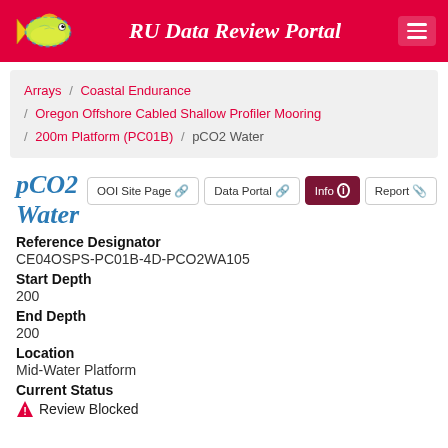RU Data Review Portal
Arrays / Coastal Endurance / Oregon Offshore Cabled Shallow Profiler Mooring / 200m Platform (PC01B) / pCO2 Water
pCO2 Water
OOI Site Page | Data Portal | Info | Report
Reference Designator
CE04OSPS-PC01B-4D-PCO2WA105
Start Depth
200
End Depth
200
Location
Mid-Water Platform
Current Status
⚠ Review Blocked